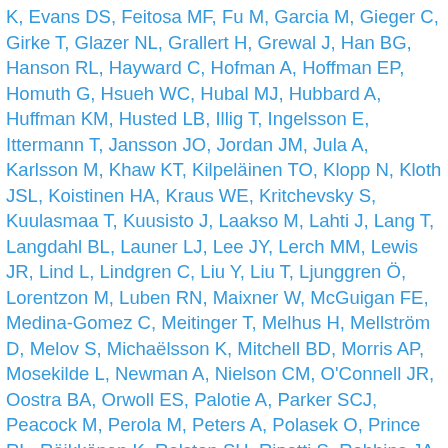K, Evans DS, Feitosa MF, Fu M, Garcia M, Gieger C, Girke T, Glazer NL, Grallert H, Grewal J, Han BG, Hanson RL, Hayward C, Hofman A, Hoffman EP, Homuth G, Hsueh WC, Hubal MJ, Hubbard A, Huffman KM, Husted LB, Illig T, Ingelsson E, Ittermann T, Jansson JO, Jordan JM, Jula A, Karlsson M, Khaw KT, Kilpeläinen TO, Klopp N, Kloth JSL, Koistinen HA, Kraus WE, Kritchevsky S, Kuulasmaa T, Kuusisto J, Laakso M, Lahti J, Lang T, Langdahl BL, Launer LJ, Lee JY, Lerch MM, Lewis JR, Lind L, Lindgren C, Liu Y, Liu T, Ljunggren Ö, Lorentzon M, Luben RN, Maixner W, McGuigan FE, Medina-Gomez C, Meitinger T, Melhus H, Mellström D, Melov S, Michaëlsson K, Mitchell BD, Morris AP, Mosekilde L, Newman A, Nielson CM, O'Connell JR, Oostra BA, Orwoll ES, Palotie A, Parker SCJ, Peacock M, Perola M, Peters A, Polasek O, Prince RL, Räikkönen K, Ralston SH, Ripatti S, Robbins JA, Rotter JI, Rudan I, Salomaa V, Satterfield S, Schadt EE, Schipf S, Scott L, Sehmi J, Shen J, Soo Shin C, Sigurdsson G, Smith S, Soranzo N, Stančáková A, Steinhagen-Thiessen E, Streeten EA, Styrkarsdottir U, Swart KMA, Tan ST, Tarnopolsky MA, Thompson B, Thomson CA, Thorsteinsdottir U, Tikkanen